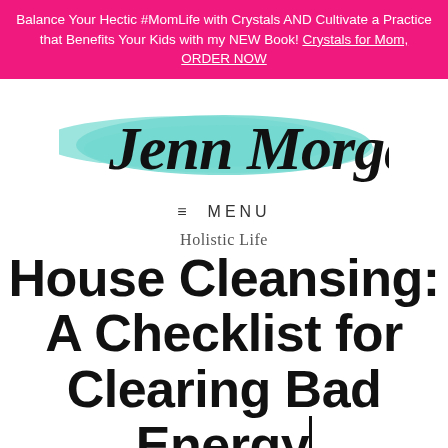Balance Your Hectic #MomLife with Crystals AND Cultivate a Practice that Benefits Your Kids with my NEW Book! Crystals for Mom, ORDER NOW
[Figure (logo): Jenn Morgan handwritten script logo with teal/aqua brushstroke background]
≡ MENU
Holistic Life
House Cleansing: A Checklist for Clearing Bad Energy from Your Ho...